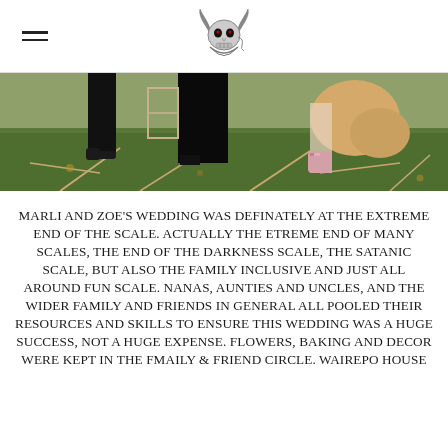[Navigation header with hamburger menu and skull logo]
[Figure (photo): Bottom portion of two people standing on grass — person on left wearing black trousers and black shoes, person on right wearing a floral/patterned outfit with light fur and pink/floral boots. Sticks arranged on the ground around them.]
MARLI AND ZOE'S WEDDING WAS DEFINATELY AT THE EXTREME END OF THE SCALE. ACTUALLY THE ETREME END OF MANY SCALES, THE END OF THE DARKNESS SCALE, THE SATANIC SCALE, BUT ALSO THE FAMILY INCLUSIVE AND JUST ALL AROUND FUN SCALE. NANAS, AUNTIES AND UNCLES, AND THE WIDER FAMILY AND FRIENDS IN GENERAL ALL POOLED THEIR RESOURCES AND SKILLS TO ENSURE THIS WEDDING WAS A HUGE SUCCESS, NOT A HUGE EXPENSE. FLOWERS, BAKING AND DECOR WERE KEPT IN THE FMAILY & FRIEND CIRCLE. WAIREPO HOUSE